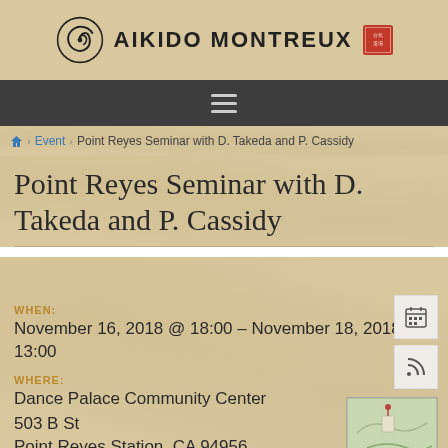AIKIDO MONTREUX
[Figure (logo): Aikido Montreux logo with spiral icon and red stamp seal]
≡
Home > Event > Point Reyes Seminar with D. Takeda and P. Cassidy
Point Reyes Seminar with D. Takeda and P. Cassidy
WHEN:
November 16, 2018 @ 18:00 – November 18, 2018 @ 13:00
WHERE:
Dance Palace Community Center
503 B St
Point Reyes Station, CA 94956